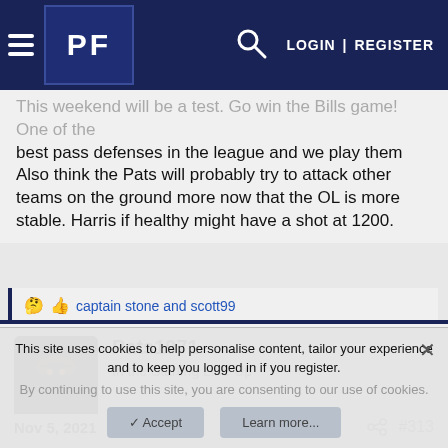PF | LOGIN | REGISTER
This weekend will be a test. Go win the Bills game! One of the best pass defenses in the league and we play them twice.
Also think the Pats will probably try to attack other teams on the ground more now that the OL is more stable. Harris if healthy might have a shot at 1200.
🤔👍 captain stone and scott99
Pats1971
In the Starting Line-Up
Nov 5, 2021  #313
This site uses cookies to help personalise content, tailor your experience and to keep you logged in if you register.
By continuing to use this site, you are consenting to our use of cookies.
Accept  Learn more...